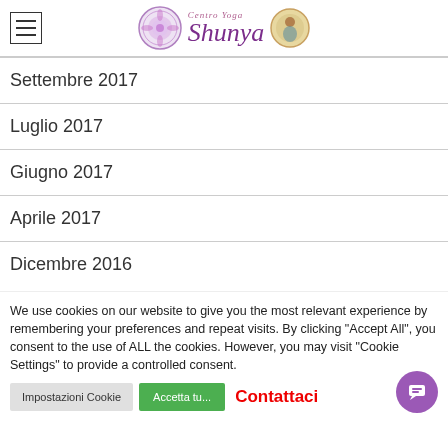Centro Yoga Shunya
Settembre 2017
Luglio 2017
Giugno 2017
Aprile 2017
Dicembre 2016
We use cookies on our website to give you the most relevant experience by remembering your preferences and repeat visits. By clicking "Accept All", you consent to the use of ALL the cookies. However, you may visit "Cookie Settings" to provide a controlled consent.
Impostazioni Cookie | Accetta tu... | Contattaci